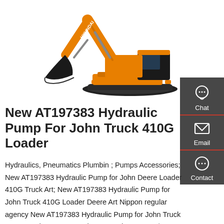[Figure (photo): Orange Hyundai tracked excavator on white background, side view showing full machine with bucket lowered]
New AT197383 Hydraulic Pump For John Truck 410G Loader
Hydraulics, Pneumatics Plumbin ; Pumps Accessories; New AT197383 Hydraulic Pump for John Deere Loader 410G Truck Art; New AT197383 Hydraulic Pump for John Truck 410G Loader Deere Art Nippon regular agency New AT197383 Hydraulic Pump for John Truck 410G Loader Deere Art Nippon regular agency $3849 New AT197383 Hydraulic Pump